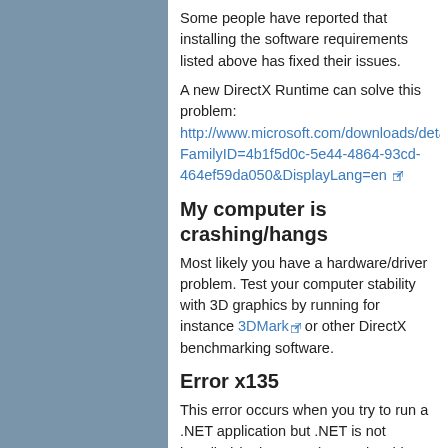Some people have reported that installing the software requirements listed above has fixed their issues.
A new DirectX Runtime can solve this problem: http://www.microsoft.com/downloads/details.aspx?FamilyID=4b1f5d0c-5e44-4864-93cd-464ef59da050&DisplayLang=en
My computer is crashing/hangs
Most likely you have a hardware/driver problem. Test your computer stability with 3D graphics by running for instance 3DMark or other DirectX benchmarking software.
Error x135
This error occurs when you try to run a .NET application but .NET is not installed (or is corrupt). To solve this error message, either install, or remove and reinstall .NET. See How Do I reinstall .Net?.
cordbg.exe !a 0x5b4 code
This is a compatibility problem with .Net. See